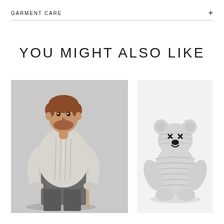GARMENT CARE
YOU MIGHT ALSO LIKE
[Figure (photo): A man sitting on a chair wearing a light grey cable-knit hoodie sweater, with dark grey trousers, photographed against a light grey background.]
[Figure (photo): A knitted stuffed animal bear/mouse toy in light grey, with black X eyes and a black nose, sitting upright, photographed on a white background.]